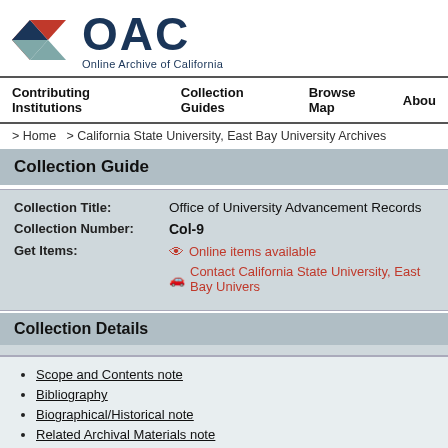[Figure (logo): OAC Online Archive of California logo with geometric diamond shape in red, dark blue, and teal colors]
Contributing Institutions   Collection Guides   Browse Map   About
> Home  > California State University, East Bay University Archives
Collection Guide
| Field | Value |
| --- | --- |
| Collection Title: | Office of University Advancement Records |
| Collection Number: | Col-9 |
| Get Items: | Online items available
Contact California State University, East Bay Univers... |
Collection Details
Scope and Contents note
Bibliography
Biographical/Historical note
Related Archival Materials note
Accruals note